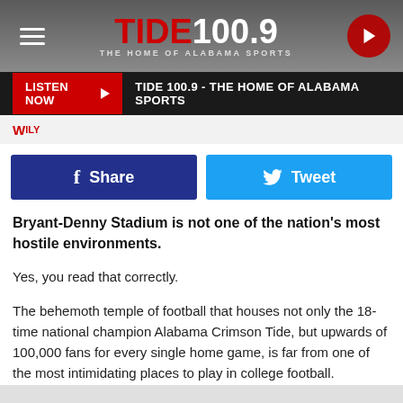TIDE 100.9 - THE HOME OF ALABAMA SPORTS
LISTEN NOW ▶  TIDE 100.9 - THE HOME OF ALABAMA SPORTS
f Share  🐦 Tweet
Bryant-Denny Stadium is not one of the nation's most hostile environments.
Yes, you read that correctly.
The behemoth temple of football that houses not only the 18-time national champion Alabama Crimson Tide, but upwards of 100,000 fans for every single home game, is far from one of the most intimidating places to play in college football.